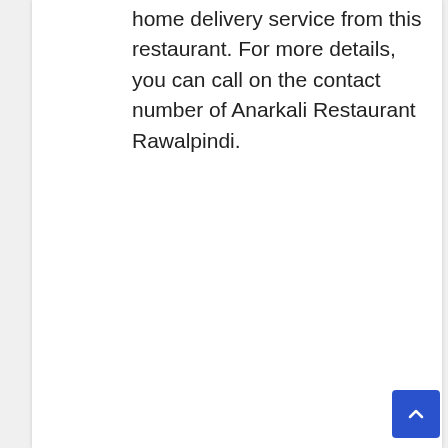home delivery service from this restaurant. For more details, you can call on the contact number of Anarkali Restaurant Rawalpindi.